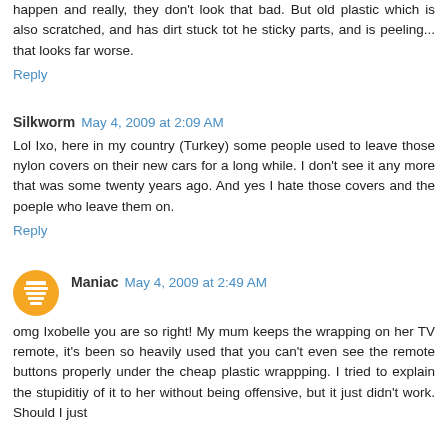happen and really, they don't look that bad. But old plastic which is also scratched, and has dirt stuck tot he sticky parts, and is peeling... that looks far worse.
Reply
Silkworm  May 4, 2009 at 2:09 AM
Lol Ixo, here in my country (Turkey) some people used to leave those nylon covers on their new cars for a long while. I don't see it any more that was some twenty years ago. And yes I hate those covers and the poeple who leave them on.
Reply
Maniac  May 4, 2009 at 2:49 AM
omg Ixobelle you are so right! My mum keeps the wrapping on her TV remote, it's been so heavily used that you can't even see the remote buttons properly under the cheap plastic wrappping. I tried to explain the stupiditiy of it to her without being offensive, but it just didn't work. Should I just